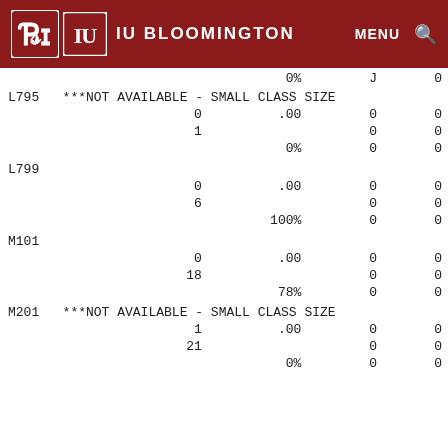IU BLOOMINGTON  MENU  Q
| Course | Col1 | Col2 | Col3 | Col4 |
| --- | --- | --- | --- | --- |
|  |  | 0% | J | 0 |
| L795 | ***NOT AVAILABLE - SMALL CLASS SIZE |  |  |  |
|  | 0 | .00 | 0 | 0 |
|  | 1 |  | 0 | 0 |
|  |  | 0% | 0 | 0 |
| L799 |  |  |  |  |
|  | 0 | .00 | 0 | 0 |
|  | 6 |  | 0 | 0 |
|  |  | 100% | 0 | 0 |
| M101 |  |  |  |  |
|  | 0 | .00 | 0 | 0 |
|  | 18 |  | 0 | 0 |
|  |  | 78% | 0 | 0 |
| M201 | ***NOT AVAILABLE - SMALL CLASS SIZE |  |  |  |
|  | 1 | .00 | 0 | 0 |
|  | 21 |  | 0 | 0 |
|  |  | 0% | 0 | 0 |